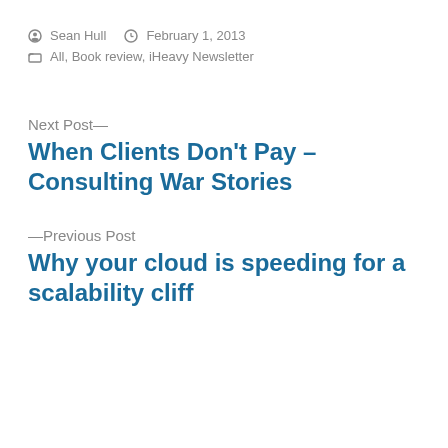Sean Hull   February 1, 2013
All, Book review, iHeavy Newsletter
Next Post—
When Clients Don't Pay – Consulting War Stories
—Previous Post
Why your cloud is speeding for a scalability cliff